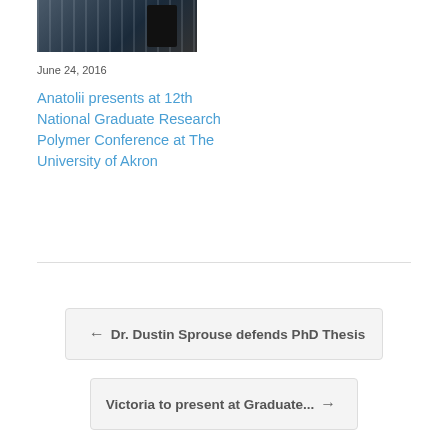[Figure (photo): Photo of a presentation or poster session at a conference, showing a banner/poster in the background and a person in dark clothing]
June 24, 2016
Anatolii presents at 12th National Graduate Research Polymer Conference at The University of Akron
← Dr. Dustin Sprouse defends PhD Thesis
Victoria to present at Graduate... →